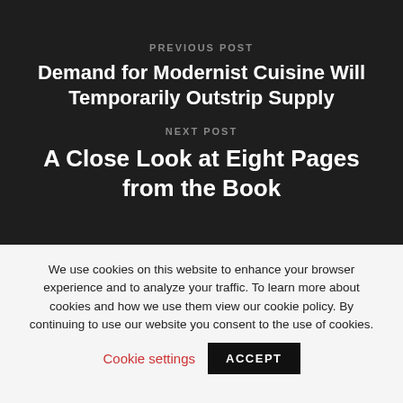PREVIOUS POST
Demand for Modernist Cuisine Will Temporarily Outstrip Supply
NEXT POST
A Close Look at Eight Pages from the Book
We use cookies on this website to enhance your browser experience and to analyze your traffic. To learn more about cookies and how we use them view our cookie policy. By continuing to use our website you consent to the use of cookies.
Cookie settings
ACCEPT